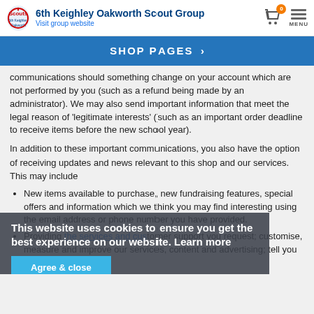6th Keighley Oakworth Scout Group — Visit group website
SHOP PAGES >
communications should something change on your account which are not performed by you (such as a refund being made by an administrator). We may also send important information that meet the legal reason of 'legitimate interests' (such as an important order deadline to receive items before the new school year).
In addition to these important communications, you also have the option of receiving updates and news relevant to this shop and our services. This may include
New items available to purchase, new fundraising features, special offers and information which we think you may find interesting using the email address or phone number you have provided.
Providing the services and customer support you request; customise, measure and improve our services, content and advertising; tell you about our
This website uses cookies to ensure you get the best experience on our website. Learn more
Agree & close